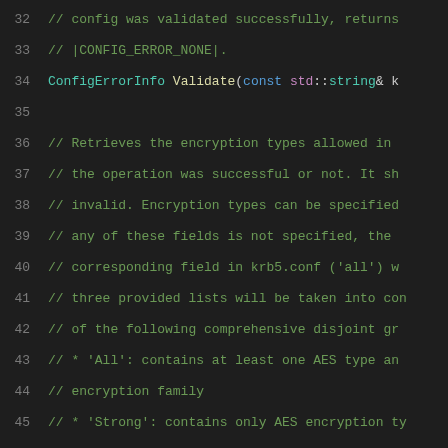Code listing lines 32-52 showing C++ header file with comments and method declarations for config validation and encryption type retrieval